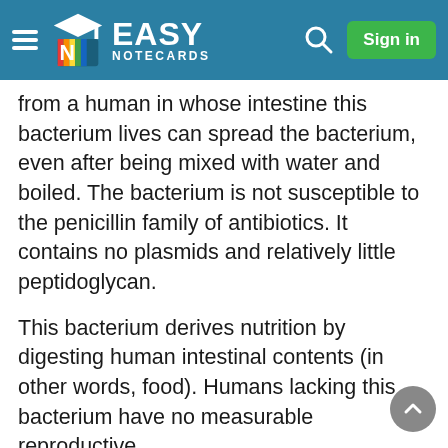Easy Notecards — Sign in
from a human in whose intestine this bacterium lives can spread the bacterium, even after being mixed with water and boiled. The bacterium is not susceptible to the penicillin family of antibiotics. It contains no plasmids and relatively little peptidoglycan.
This bacterium derives nutrition by digesting human intestinal contents (in other words, food). Humans lacking this bacterium have no measurable reproductive